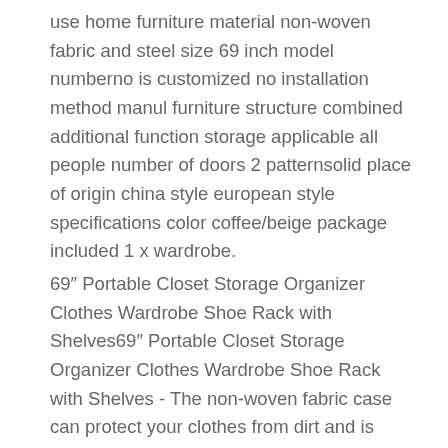use home furniture material non-woven fabric and steel size 69 inch model numberno is customized no installation method manul furniture structure combined additional function storage applicable all people number of doors 2 patternsolid place of origin china style european style specifications color coffee/beige package included 1 x wardrobe.
69″ Portable Closet Storage Organizer Clothes Wardrobe Shoe Rack with Shelves69″ Portable Closet Storage Organizer Clothes Wardrobe Shoe Rack with Shelves - The non-woven fabric case can protect your clothes from dirt and is easy to clean. Features 1. 72)″ (l x w x h) 3. With concise and elegant style 3. Help to classify your messy